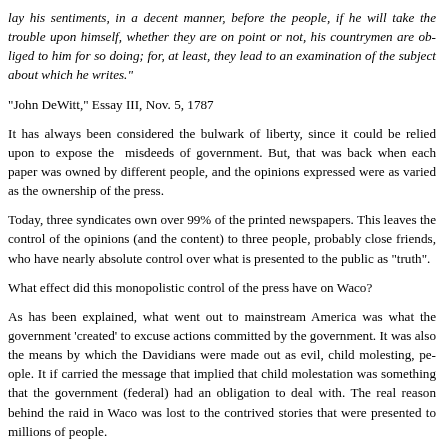lay his sentiments, in a decent manner, before the people, if he will take the trouble upon himself, whether they are on point or not, his countrymen are obliged to him for so doing; for, at least, they lead to an examination of the subject about which he writes."
"John DeWitt," Essay III, Nov. 5, 1787
It has always been considered the bulwark of liberty, since it could be relied upon to expose the misdeeds of government. But, that was back when each paper was owned by different people, and the opinions expressed were as varied as the ownership of the press.
Today, three syndicates own over 99% of the printed newspapers. This leaves the control of the opinions (and the content) to three people, probably close friends, who have nearly absolute control over what is presented to the public as "truth".
What effect did this monopolistic control of the press have on Waco?
As has been explained, what went out to mainstream America was what the government 'created' to excuse actions committed by the government. It was also the means by which the Davidians were made out as evil, child molesting, people. It if carried the message that implied that child molestation was something that the government (federal) had an obligation to deal with. The real reason behind the raid in Waco was lost to the contrived stories that were presented to millions of people.
The final result was that through demonization and distortion of truth, America was almost cheerful when the FBI promulgated fire swept through a